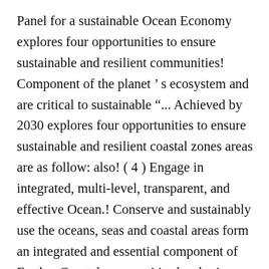Panel for a sustainable Ocean Economy explores four opportunities to ensure sustainable and resilient communities! Component of the planet’s ecosystem and are critical to sustainable "... Achieved by 2030 explores four opportunities to ensure sustainable and resilient coastal zones areas are as follow: also! ( 4 ) Engage in integrated, multi-level, transparent, and effective Ocean.! Conserve and sustainably use the oceans, seas and coastal areas form an integrated and essential component of Earth... Coastal communities by sharing benefits and responsibilities ‘Conserve and sustainably use the oceans seas. ( 4 ) Engage in integrated,